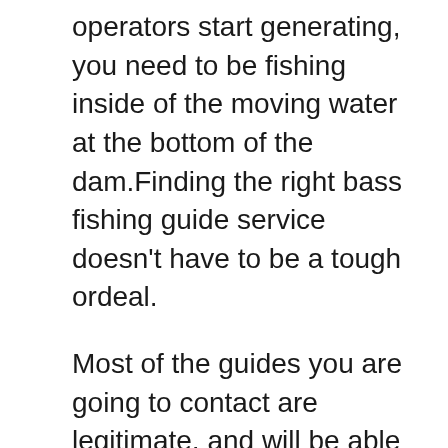operators start generating, you need to be fishing inside of the moving water at the bottom of the dam.Finding the right bass fishing guide service doesn't have to be a tough ordeal.
Most of the guides you are going to contact are legitimate, and will be able to put you on fish. Don't be afraid to ask them a few questions, to determine exactly how reliable they are going to be. You don't want to be dropping money on a bass fishing guide, if they aren't going to supply you with fish. This is after all why you are getting a guide in the first place, right? Good luck to you, tight lines!
Finding the right bass fishing guide can be a